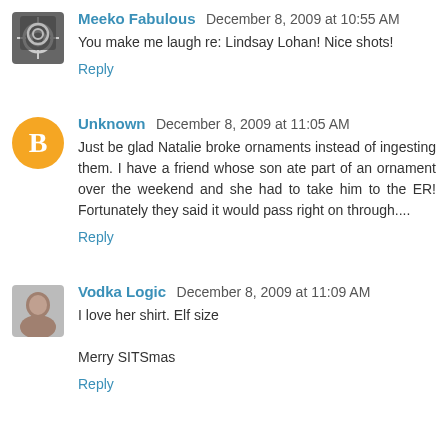Meeko Fabulous  December 8, 2009 at 10:55 AM
You make me laugh re: Lindsay Lohan! Nice shots!
Reply
Unknown  December 8, 2009 at 11:05 AM
Just be glad Natalie broke ornaments instead of ingesting them. I have a friend whose son ate part of an ornament over the weekend and she had to take him to the ER! Fortunately they said it would pass right on through....
Reply
Vodka Logic  December 8, 2009 at 11:09 AM
I love her shirt. Elf size
Merry SITSmas
Reply